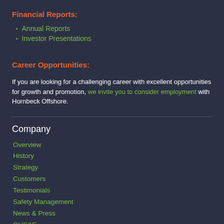Financial Reports:
Annual Reports
Investor Presentations
Career Opportunities:
If you are looking for a challenging career with excellent opportunities for growth and promotion, we invite you to consider employment with Hornbeck Offshore.
Company
Overview
History
Strategy
Customers
Testimonials
Safety Management
News & Press
QHS&E
Community Relations